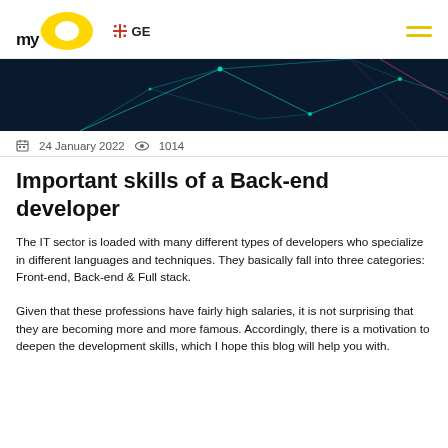myGO  GE  ≡
[Figure (photo): Dark technology hero image with cyan/teal network lines on dark blue background]
📅  24 January 2022  👁  1014
Important skills of a Back-end developer
The IT sector is loaded with many different types of developers who specialize in different languages and techniques. They basically fall into three categories: Front-end, Back-end & Full stack.
Given that these professions have fairly high salaries, it is not surprising that they are becoming more and more famous. Accordingly, there is a motivation to deepen the development skills, which I hope this blog will help you with.